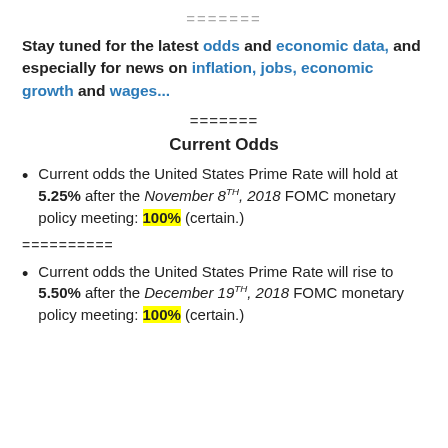=======
Stay tuned for the latest odds and economic data, and especially for news on inflation, jobs, economic growth and wages...
=======
Current Odds
Current odds the United States Prime Rate will hold at 5.25% after the November 8TH, 2018 FOMC monetary policy meeting: 100% (certain.)
==========
Current odds the United States Prime Rate will rise to 5.50% after the December 19TH, 2018 FOMC monetary policy meeting: 100% (certain.)